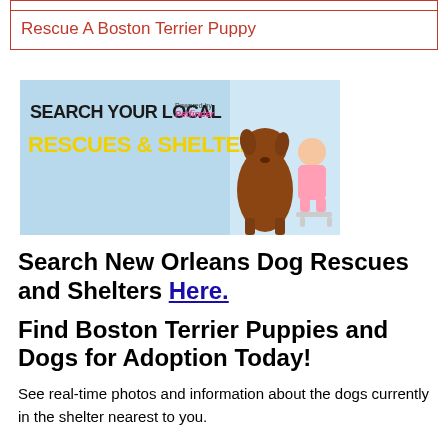Rescue A Boston Terrier Puppy
[Figure (illustration): Petfinder banner ad: 'SEARCH YOUR LOCAL RESCUES & SHELTERS' powered by Petfinder, showing a large brown dog and a baby sitting together against a blue background]
Search New Orleans Dog Rescues and Shelters Here.
Find Boston Terrier Puppies and Dogs for Adoption Today!
See real-time photos and information about the dogs currently in the shelter nearest to you.